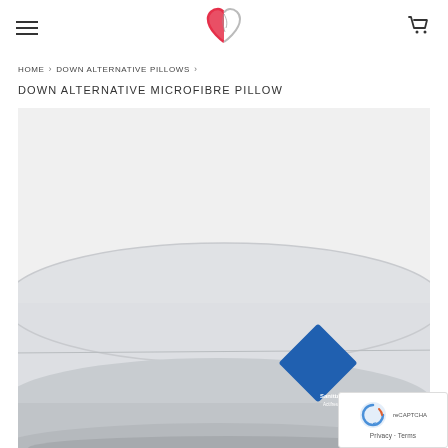Navigation header with hamburger menu, heart logo, and cart icon
HOME › DOWN ALTERNATIVE PILLOWS ›
DOWN ALTERNATIVE MICROFIBRE PILLOW
[Figure (photo): Side view of two white microfibre pillows stacked, with a Sanitized Actifresh certification badge visible in the bottom right corner]
[Figure (other): Google reCAPTCHA badge with Privacy and Terms links]